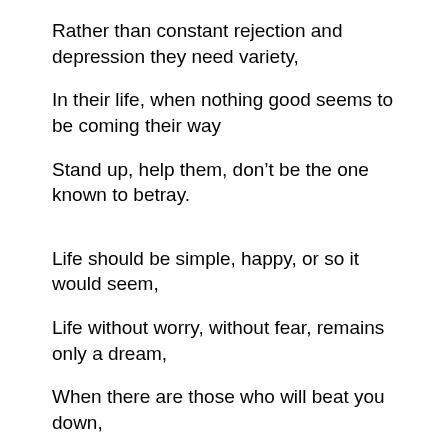Rather than constant rejection and depression they need variety,
In their life, when nothing good seems to be coming their way
Stand up, help them, don’t be the one known to betray.
Life should be simple, happy, or so it would seem,
Life without worry, without fear, remains only a dream,
When there are those who will beat you down,
Ignore you, insult you, shove you to the ground.
Send you insults and empty accusations